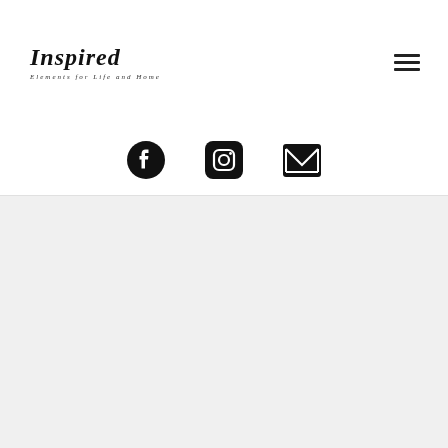[Figure (logo): Inspired Elements for Life and Home logo with stylized italic text and tagline]
[Figure (infographic): Social media icons: Facebook circle, Instagram camera, and email envelope icons in black]
[Figure (photo): Gray placeholder content area with a lighter gray inner card/image placeholder]